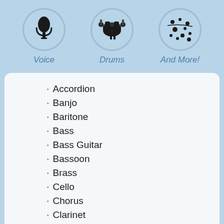[Figure (illustration): Three circular icons depicting Voice (microphone), Drums (drum kit), and And More! (music notes/dots) on a light blue background]
Voice
Drums
And More!
Accordion
Banjo
Baritone
Bass
Bass Guitar
Bassoon
Brass
Cello
Chorus
Clarinet
Composition